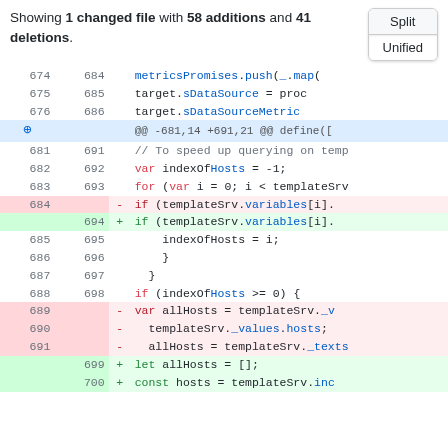Showing 1 changed file with 58 additions and 41 deletions.
[Figure (screenshot): Split/Unified button toggle group]
| old_ln | new_ln | op | code |
| --- | --- | --- | --- |
| 674 | 684 |  | metricsPromises.push(_.map( |
| 675 | 685 |  | target.sDataSource = proc |
| 676 | 686 |  | target.sDataSourceMetric |
|  |  |  | @@ -681,14 +691,21 @@ define([ |
| 681 | 691 |  | // To speed up querying on temp |
| 682 | 692 |  | var indexOf Hosts = -1; |
| 683 | 693 |  | for (var i = 0; i < templateSrv |
| 684 |  | – | if (templateSrv.variables[i]. |
|  | 694 | + | if (templateSrv.variables[i]. |
| 685 | 695 |  | indexOfHosts = i; |
| 686 | 696 |  | } |
| 687 | 697 |  | } |
| 688 | 698 |  | if (indexOfHosts >= 0) { |
| 689 |  | – | var allHosts = templateSrv._v |
| 690 |  | – | templateSrv._values.hosts; |
| 691 |  | – | allHosts = templateSrv._texts |
|  | 699 | + | let allHosts = []; |
|  | 700 | + | const hosts = templateSrv.inc |